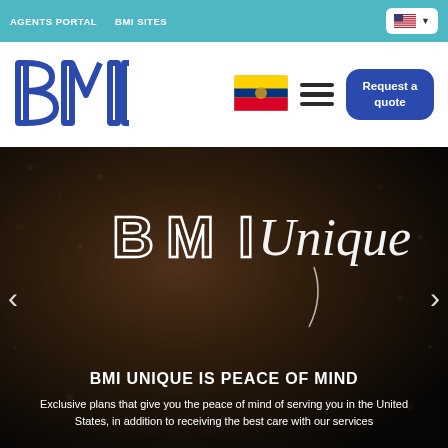AGENTS PORTAL   BMI SITES
[Figure (logo): BMI logo in blue with striped lettering]
[Figure (illustration): Ecuador flag icon]
Request a quote
[Figure (photo): Dark wood background hero image with BMI Unique logo in white]
BMI UNIQUE IS PEACE OF MIND
Exclusive plans that give you the peace of mind of serving you in the United States, in addition to receiving the best care with our services